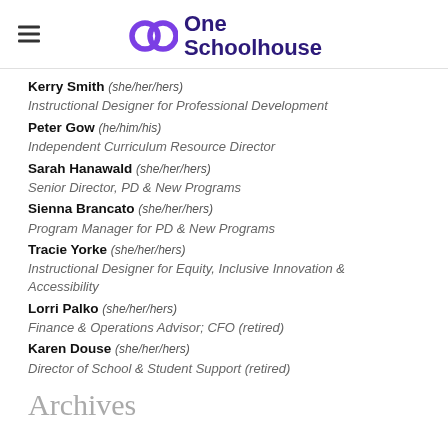One Schoolhouse
Kerry Smith (she/her/hers)
Instructional Designer for Professional Development
Peter Gow (he/him/his)
Independent Curriculum Resource Director
Sarah Hanawald (she/her/hers)
Senior Director, PD & New Programs
Sienna Brancato (she/her/hers)
Program Manager for PD & New Programs
Tracie Yorke (she/her/hers)
Instructional Designer for Equity, Inclusive Innovation & Accessibility
Lorri Palko (she/her/hers)
Finance & Operations Advisor; CFO (retired)
Karen Douse (she/her/hers)
Director of School & Student Support (retired)
Archives